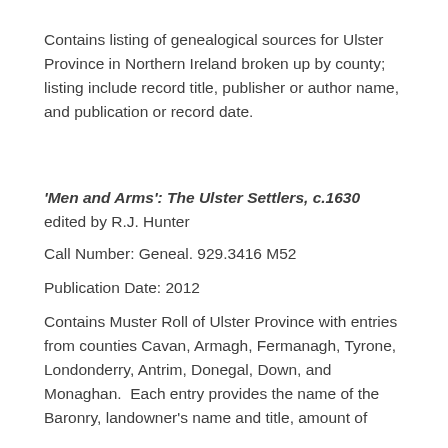Contains listing of genealogical sources for Ulster Province in Northern Ireland broken up by county; listing include record title, publisher or author name, and publication or record date.
'Men and Arms': The Ulster Settlers, c.1630 edited by R.J. Hunter
Call Number: Geneal. 929.3416 M52
Publication Date: 2012
Contains Muster Roll of Ulster Province with entries from counties Cavan, Armagh, Fermanagh, Tyrone, Londonderry, Antrim, Donegal, Down, and Monaghan.  Each entry provides the name of the Baronry, landowner's name and title, amount of